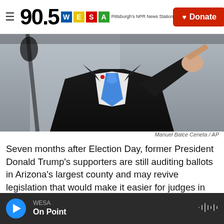90.5 WESA — Pittsburgh's NPR News Station | Donate
[Figure (photo): Person in dark suit with blue tie pointing finger toward camera, partial view from chest up]
Manuel Balce Ceneta / AP
Seven months after Election Day, former President Donald Trump's supporters are still auditing ballots in Arizona's largest county and may revive legislation that would make it easier for judges in Texas to overturn election results.
In Georgia, meanwhile, the Republican-controlled
WESA — On Point